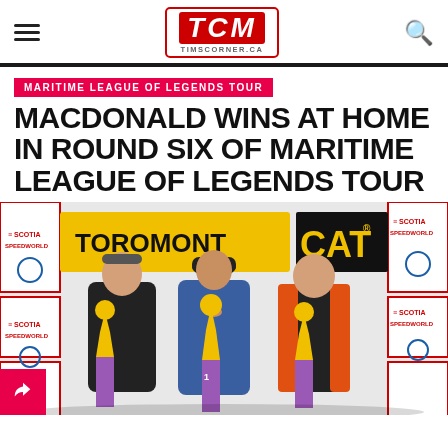TCM TIMSCORNER.CA
MARITIME LEAGUE OF LEGENDS TOUR
MACDONALD WINS AT HOME IN ROUND SIX OF MARITIME LEAGUE OF LEGENDS TOUR
[Figure (photo): Three racers standing on a podium in front of a Toromont CAT and Scotia Speedworld banner, each holding a trophy with purple bases. The center racer in blue suit gives a thumbs up and wears a cap.]